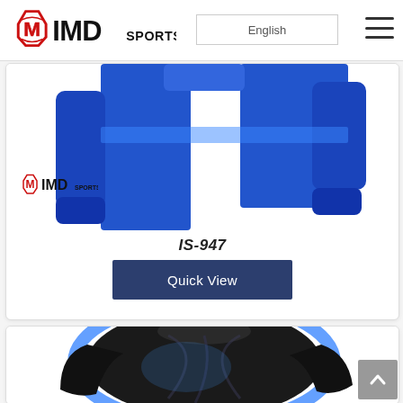IMD Sports - English
[Figure (screenshot): Blue long-sleeve sports shirt product image with IMD Sports watermark logo bottom-left]
IS-947
Quick View
[Figure (screenshot): Black and blue sublimation sports shirt product image, partial view]